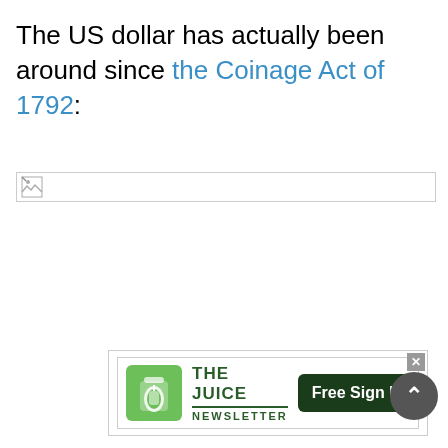The US dollar has actually been around since the Coinage Act of 1792:
[Figure (photo): Broken image placeholder (image failed to load)]
[Figure (other): Advertisement banner for 'The Juice Newsletter' with a 'Free Sign Up' button and a close (x) button. A scroll-up arrow button appears to the right.]